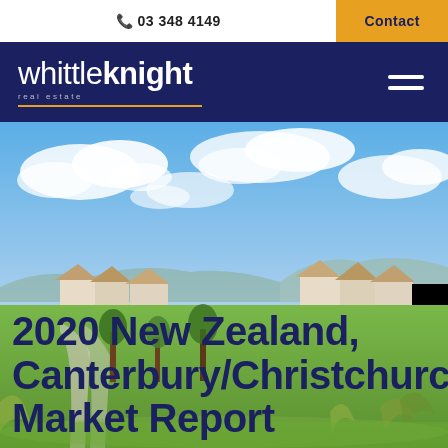03 348 4149 | Contact
[Figure (logo): Whittle Knight Real Estate logo — white text on navy background with gold underline and hamburger menu icon]
[Figure (photo): Aerial/ground-level photo of a suburban Christchurch neighbourhood with houses, green lawn, trees and a partly cloudy blue sky]
2020 New Zealand, Canterbury/Christchurch Market Report